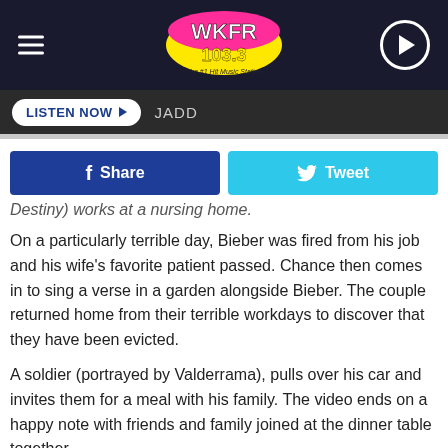WKFR 103.3 The #1 Hit Music Station
LISTEN NOW  JADD
Share  Tweet
Destiny) works at a nursing home.
On a particularly terrible day, Bieber was fired from his job and his wife's favorite patient passed. Chance then comes in to sing a verse in a garden alongside Bieber. The couple returned home from their terrible workdays to discover that they have been evicted.
A soldier (portrayed by Valderrama), pulls over his car and invites them for a meal with his family. The video ends on a happy note with friends and family joined at the dinner table together.